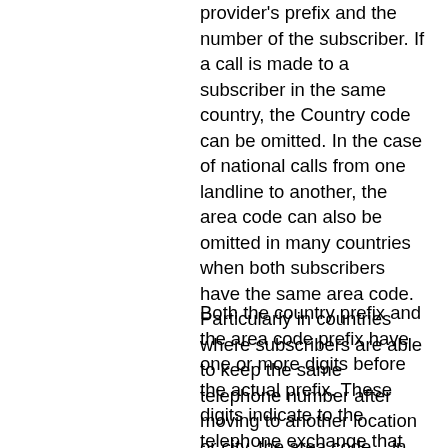provider's prefix and the number of the subscriber. If a call is made to a subscriber in the same country, the Country code can be omitted. In the case of national calls from one landline to another, the area code can also be omitted in many countries when both subscribers have the same area code. Particularly in countries where subscribers are able to keep the same telephone number after moving to another location or city, the area code – in this case 335 – must of course also be dialled.
Both the country prefix and the area code prefix have one or more digits before the actual prefix. These digits indicate to the telephone exchange that the following digits are an area code or a Country code and not the actual phone number. In the case of area codes, this is usually a zero. In the case of Country codes, Western European countries and most countries in Africa, South America and the Middle East follow the ITU recommendation to use two zeros. However, some countries do not adhere to this recommendation: For example, the countries that participate in the North American